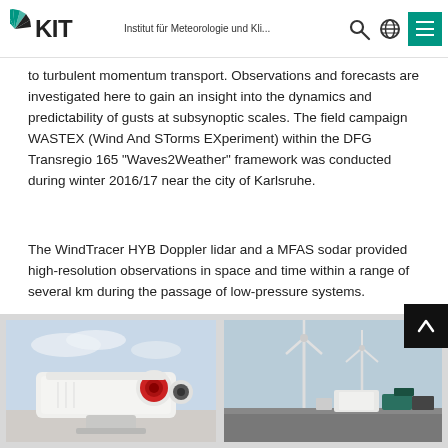KIT — Institut für Meteorologie und Kli...
to turbulent momentum transport. Observations and forecasts are investigated here to gain an insight into the dynamics and predictability of gusts at subsynoptic scales. The field campaign WASTEX (Wind And STorms EXperiment) within the DFG Transregio 165 "Waves2Weather" framework was conducted during winter 2016/17 near the city of Karlsruhe.
The WindTracer HYB Doppler lidar and a MFAS sodar provided high-resolution observations in space and time within a range of several km during the passage of low-pressure systems.
[Figure (photo): Close-up photo of WindTracer HYB Doppler lidar instrument mounted on a rooftop, showing cylindrical white body with red lens apertures]
[Figure (photo): Photo of wind turbines and measurement equipment containers at the WASTEX field campaign site near Karlsruhe]